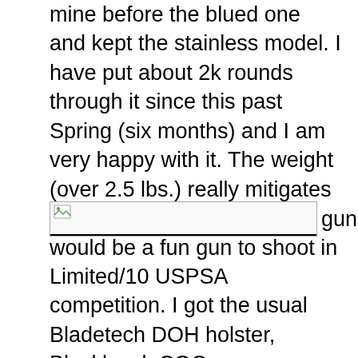mine before the blued one and kept the stainless model. I have put about 2k rounds through it since this past Spring (six months) and I am very happy with it. The weight (over 2.5 lbs.) really mitigates recoil such that I figured it would be a fun gun to shoot in Limited/10 USPSA competition. I got the usual Bladetech DOH holster, Blackhawk CQC mag pouches, CR Speed Hi-Torque belt and a bunch of Chip McCormack PowerPro 10-round mags for it and away we went. I shoot it almost as well as my production
[Figure (other): Broken/missing inline image placeholder (browser broken image icon with underline), followed by the text 'guns and']